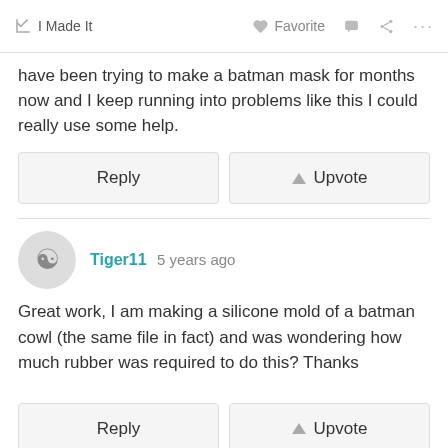I Made It   Favorite   ...
have been trying to make a batman mask for months now and I keep running into problems like this I could really use some help.
Reply   Upvote
Tiger11  5 years ago
Great work, I am making a silicone mold of a batman cowl (the same file in fact) and was wondering how much rubber was required to do this? Thanks
Reply   Upvote